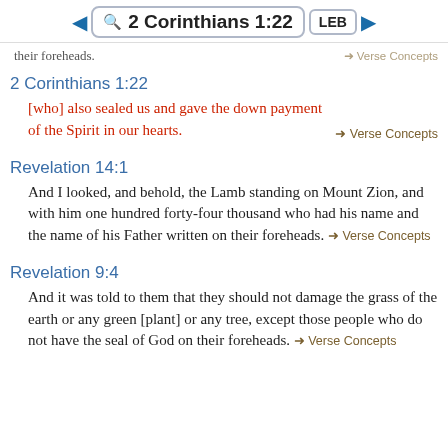2 Corinthians 1:22 LEB
their foreheads.
2 Corinthians 1:22
[who] also sealed us and gave the down payment of the Spirit in our hearts.
Revelation 14:1
And I looked, and behold, the Lamb standing on Mount Zion, and with him one hundred forty-four thousand who had his name and the name of his Father written on their foreheads.
Revelation 9:4
And it was told to them that they should not damage the grass of the earth or any green [plant] or any tree, except those people who do not have the seal of God on their foreheads.